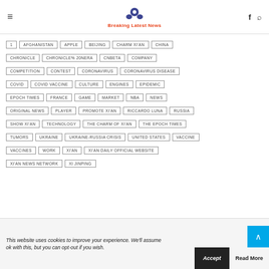Breaking Latest News
1
AFGHANISTAN
APPLE
BEIJING
CHARM XI'AN
CHINA
CHRONICLE
CHRONICLE% 20NERA
CNBETA
COMPANY
COMPETITION
CONTEST
CORONAVIRUS
CORONAVIRUS DISEASE
COVID
COVID VACCINE
CULTURE
ENGINES
EPIDEMIC
EPOCH TIMES
FRANCE
GAME
MARKET
NBA
NEWS
ORIGINAL NEWS
PLAYER
PROMOTE XI'AN
RICCARDO LUNA
RUSSIA
SHOW XI'AN
TECHNOLOGY
THE CHARM OF XI'AN
THE EPOCH TIMES
TUMORS
UKRAINE
UKRAINE-RUSSIA CRISIS
UNITED STATES
VACCINE
VACCINES
WORK
XI'AN
XI'AN DAILY OFFICIAL WEBSITE
XI'AN NEWS NETWORK
XI JINPING
This website uses cookies to improve your experience. We'll assume ok with this, but you can opt-out if you wish. Accept Read More